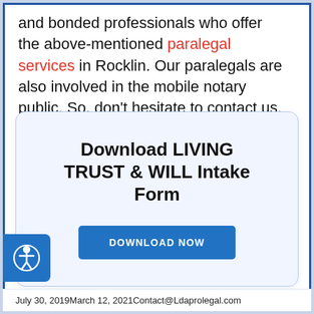and bonded professionals who offer the above-mentioned paralegal services in Rocklin. Our paralegals are also involved in the mobile notary public. So, don't hesitate to contact us.
Download LIVING TRUST & WILL Intake Form
[Figure (other): Blue rectangular button labeled DOWNLOAD NOW]
[Figure (other): Accessibility icon: person figure in circle on blue square background]
July 30, 2019March 12, 2021Contact@Ldaprolegal.com